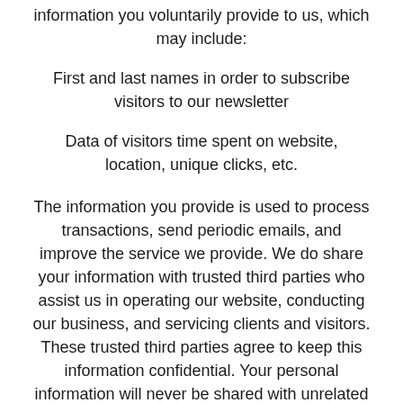information you voluntarily provide to us, which may include:
First and last names in order to subscribe visitors to our newsletter
Data of visitors time spent on website, location, unique clicks, etc.
The information you provide is used to process transactions, send periodic emails, and improve the service we provide. We do share your information with trusted third parties who assist us in operating our website, conducting our business, and servicing clients and visitors. These trusted third parties agree to keep this information confidential. Your personal information will never be shared with unrelated third parties.
ACTIVITY